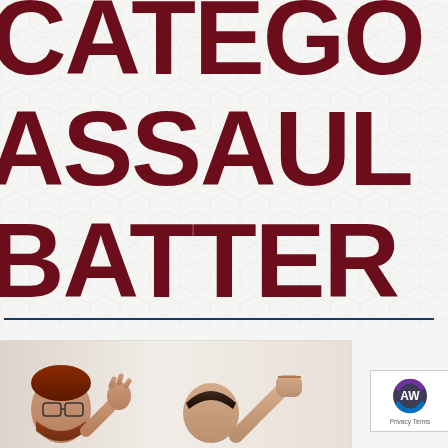CATEGORY ASSAULT BATTERY
[Figure (photo): Two men in a confrontation, one with red hair and glasses raising his hand defensively, the other raising a fist as if to strike, illustrating assault and battery.]
[Figure (logo): AW watermark logo with circular arrow design in purple and blue, with 'Privacy Terms' text below.]